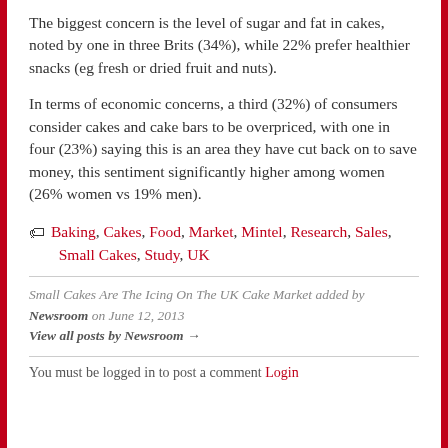The biggest concern is the level of sugar and fat in cakes, noted by one in three Brits (34%), while 22% prefer healthier snacks (eg fresh or dried fruit and nuts).
In terms of economic concerns, a third (32%) of consumers consider cakes and cake bars to be overpriced, with one in four (23%) saying this is an area they have cut back on to save money, this sentiment significantly higher among women (26% women vs 19% men).
Baking, Cakes, Food, Market, Mintel, Research, Sales, Small Cakes, Study, UK
Small Cakes Are The Icing On The UK Cake Market added by Newsroom on June 12, 2013
View all posts by Newsroom →
You must be logged in to post a comment Login